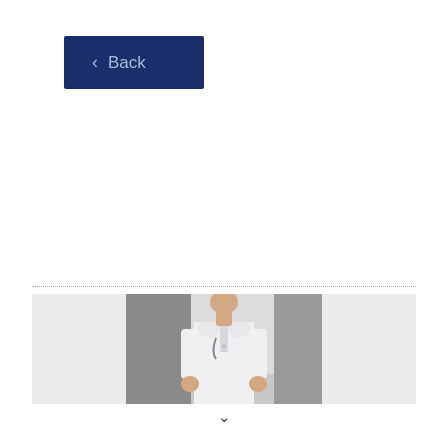< Back
[Figure (photo): Partial photo of a person wearing a white lab coat/doctor coat, cropped to show torso area, displayed in a light gray strip banner.]